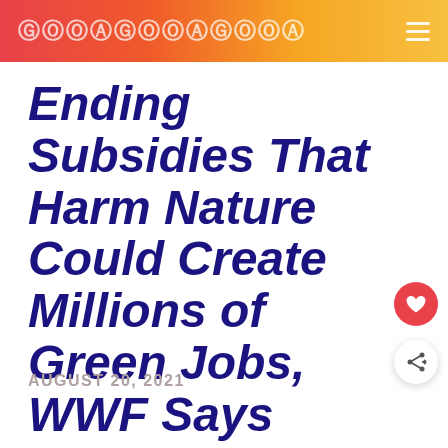GOODGOODGOOD
Ending Subsidies That Harm Nature Could Create Millions of Green Jobs, WWF Says
AUGUST 20, 2021